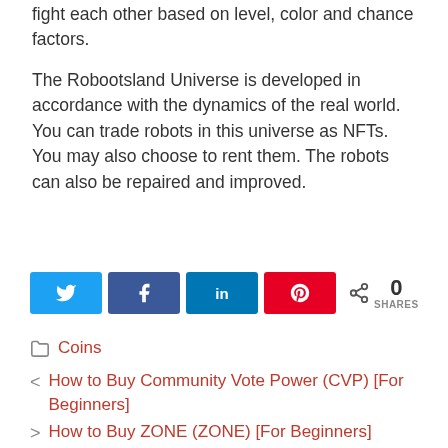fight each other based on level, color and chance factors.
The Robootsland Universe is developed in accordance with the dynamics of the real world. You can trade robots in this universe as NFTs. You may also choose to rent them. The robots can also be repaired and improved.
[Figure (infographic): Social share buttons: Twitter (blue), Facebook (blue), LinkedIn (dark blue), Pinterest (red), and a share count showing 0 SHARES]
Coins
< How to Buy Community Vote Power (CVP) [For Beginners]
> How to Buy ZONE (ZONE) [For Beginners]